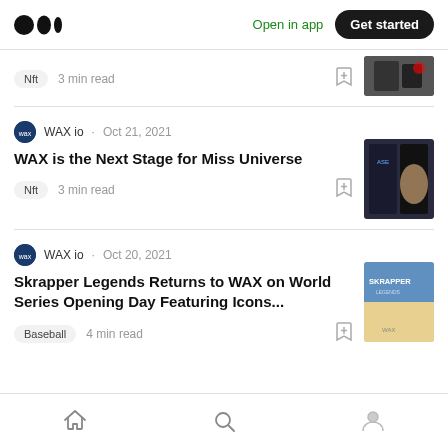Medium app header with logo, Open in app, Get started
Nft · 3 min read
WAX io · Oct 21, 2021
WAX is the Next Stage for Miss Universe
Nft · 3 min read
WAX io · Oct 20, 2021
Skrapper Legends Returns to WAX on World Series Opening Day Featuring Icons...
Baseball · 4 min read
Home · Search · Profile